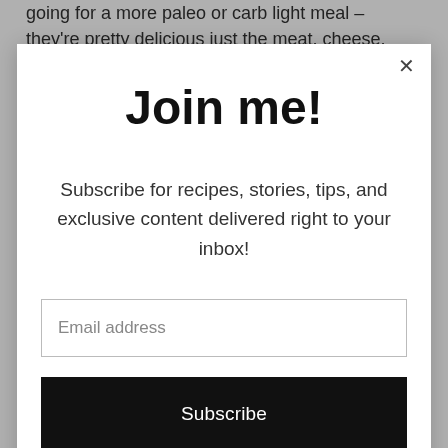going for a more paleo or carb light meal – they're pretty delicious just the meat, cheese, sauce and
Join me!
Subscribe for recipes, stories, tips, and exclusive content delivered right to your inbox!
Email address
Subscribe